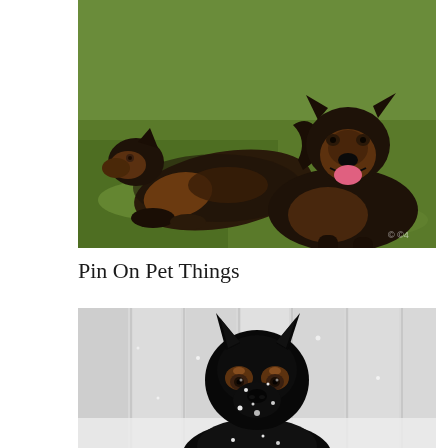[Figure (photo): Two long-haired German Shepherd dogs lying on green grass. One dog is facing left, the other is facing forward with mouth open and tongue out. Outdoor setting in sunlight. Watermark visible in bottom right corner.]
Pin On Pet Things
[Figure (photo): A black German Shepherd dog photographed from the front, sitting in snow. The dog's face has brown markings and snow flakes on its fur. Blurred white/grey background.]